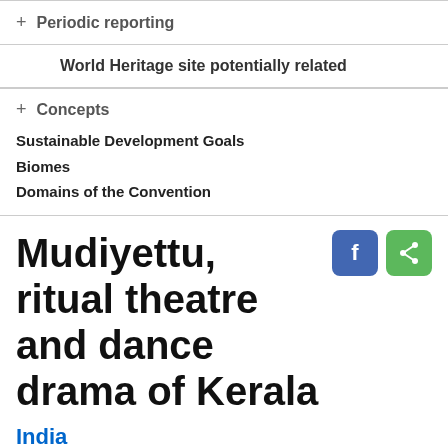+ Periodic reporting
World Heritage site potentially related
+ Concepts
Sustainable Development Goals
Biomes
Domains of the Convention
Mudiyettu, ritual theatre and dance drama of Kerala
India
Inscribed in 2010 (5.COM) on the Representative List of